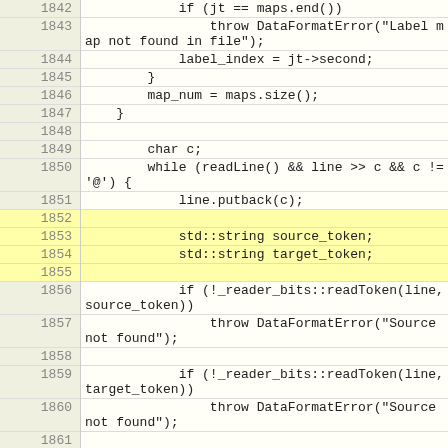[Figure (screenshot): Code editor showing C++ source code lines 1842-1861 with line numbers on the left and code on the right. The code involves DataFormatError handling, label_index, map_num, char c, while loop with readLine(), line.putback(c), std::string declarations for source_token and target_token, and _reader_bits::readToken calls with throw DataFormatError statements.]